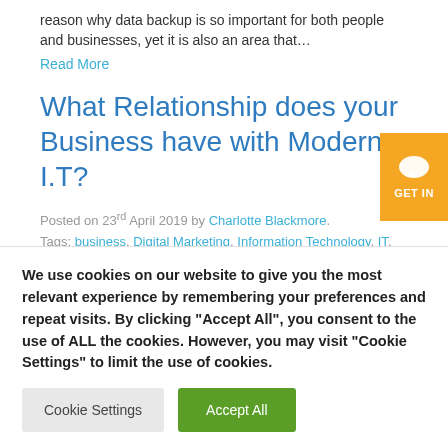reason why data backup is so important for both people and businesses, yet it is also an area that…
Read More
What Relationship does your Business have with Modern I.T?
Posted on 23rd April 2019 by Charlotte Blackmore. Tags: business, Digital Marketing, Information Technology, IT, Modern IT
[Figure (other): Orange GET IN button with chat bubble icon]
We use cookies on our website to give you the most relevant experience by remembering your preferences and repeat visits. By clicking "Accept All", you consent to the use of ALL the cookies. However, you may visit "Cookie Settings" to limit the use of cookies.
Cookie Settings
Accept All